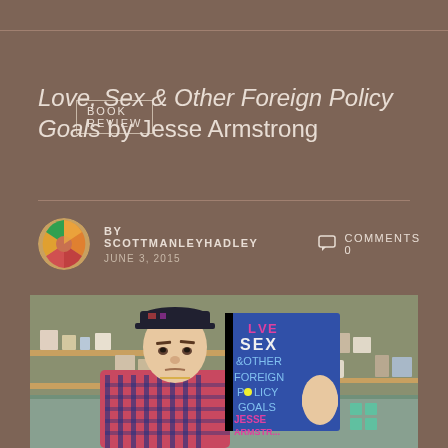BOOK REVIEW
Love, Sex & Other Foreign Policy Goals by Jesse Armstrong
BY SCOTTMANLEYHADLEY   COMMENTS 0
JUNE 3, 2015
[Figure (photo): Person holding up the book 'Love, Sex & Other Foreign Policy Goals' by Jesse Armstrong. The person is wearing a cap and a colorful plaid jacket, standing in a kitchen. The book cover is blue with pink and white typography.]